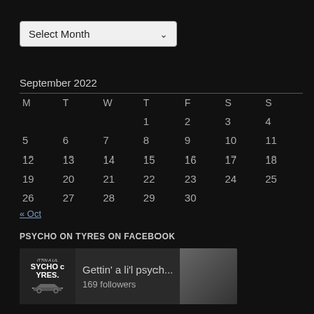[Figure (other): A dropdown/select input labeled 'Select Month' with a chevron arrow on dark background]
| M | T | W | T | F | S | S |
| --- | --- | --- | --- | --- | --- | --- |
|  |  |  | 1 | 2 | 3 | 4 |
| 5 | 6 | 7 | 8 | 9 | 10 | 11 |
| 12 | 13 | 14 | 15 | 16 | 17 | 18 |
| 19 | 20 | 21 | 22 | 23 | 24 | 25 |
| 26 | 27 | 28 | 29 | 30 |  |  |
« Oct
PSYCHO ON TYRES ON FACEBOOK
[Figure (other): Facebook page card showing logo with 'ITTIN A LIL SYCHO c YRES.' text and racing car image, with page name 'Gettin' a li'l psych...' and '169 followers']